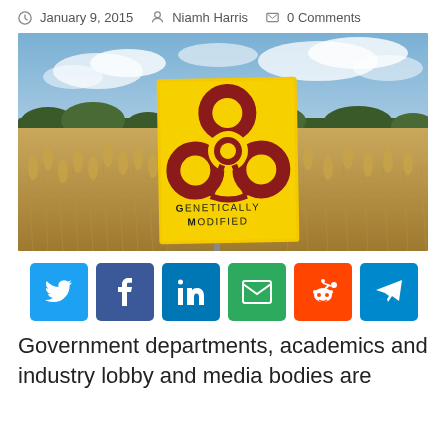January 9, 2015  Niamh Harris  0 Comments
[Figure (photo): Photograph of a golden wheat field under a partly cloudy blue sky, with a yellow warning sign in the center bearing a biohazard symbol and the text 'GENETICALLY MODIFIED']
[Figure (infographic): Row of six social media share buttons: Twitter (blue), Facebook (dark blue), LinkedIn (blue), Email (green), Reddit (orange-red), Telegram (blue)]
Government departments, academics and industry lobby and media bodies are